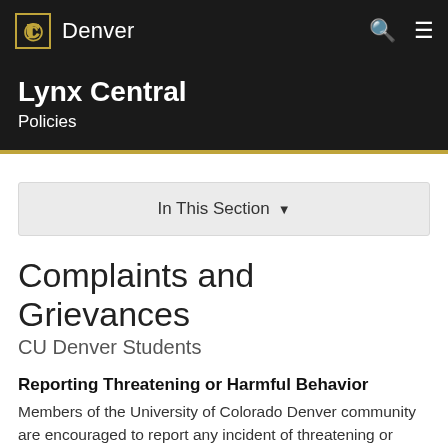CU Denver | Lynx Central – Policies
Lynx Central
Policies
In This Section ▾
Complaints and Grievances
CU Denver Students
Reporting Threatening or Harmful Behavior
Members of the University of Colorado Denver community are encouraged to report any incident of threatening or